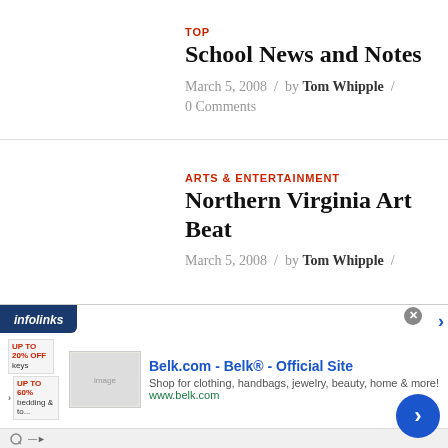TOP
School News and Notes
March 5, 2008 / by Tom Whipple / 0 Comments
ARTS & ENTERTAINMENT
Northern Virginia Art Beat
March 5, 2008 / by Tom Whipple /
[Figure (screenshot): Infolinks ad banner for Belk.com showing 'Belk.com - Belk® - Official Site' with tagline 'Shop for clothing, handbags, jewelry, beauty, home & more!' and www.belk.com URL, with close button and navigation arrow]